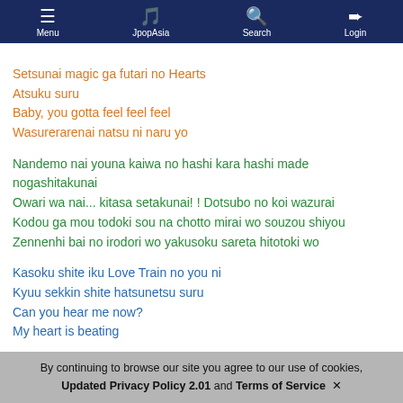Menu | JpopAsia | Search | Login
Setsunai magic ga futari no Hearts
Atsuku suru
Baby, you gotta feel feel feel
Wasurerarenai natsu ni naru yo
Nandemo nai youna kaiwa no hashi kara hashi made nogashitakunai
Owari wa nai... kitasa setakunai! ! Dotsubo no koi wazurai
Kodou ga mou todoki sou na chotto mirai wo souzou shiyou
Zennenhi bai no irodori wo yakusoku sareta hitotoki wo
Kasoku shite iku Love Train no you ni
Kyuu sekkin shite hatsunetsu suru
Can you hear me now?
My heart is beating
Baby, you gotta feel feel feel
Kodou ugokidasu kono shunkan
So I gotta feel feel feel
By continuing to browse our site you agree to our use of cookies, Updated Privacy Policy 2.01 and Terms of Service ✕